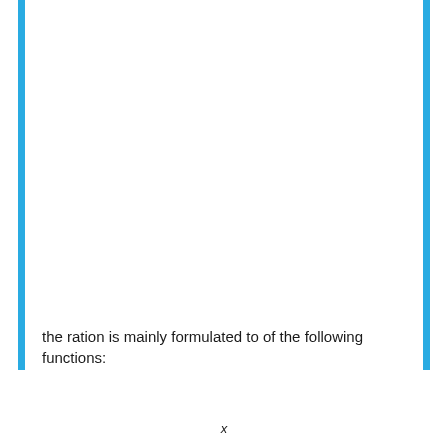the ration is mainly formulated to of the following functions:
x